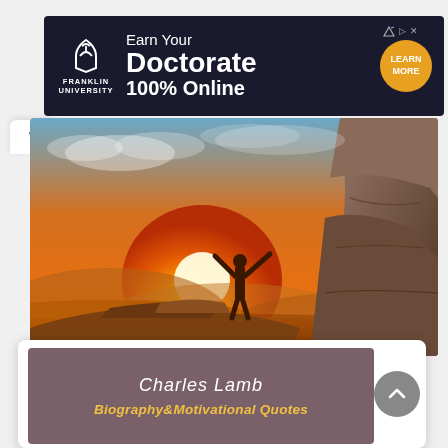[Figure (other): Franklin University advertisement banner: dark navy background with Franklin University logo, text 'Earn Your Doctorate 100% Online', and an orange circular CTA button saying 'LEARN MORE']
[Figure (photo): Person standing on a rocky cliff edge with arms raised wide in victory pose, silhouetted against a dramatic golden sunset sky with mountains in the background]
Charles Lamb
Biography&Motivational Quotes